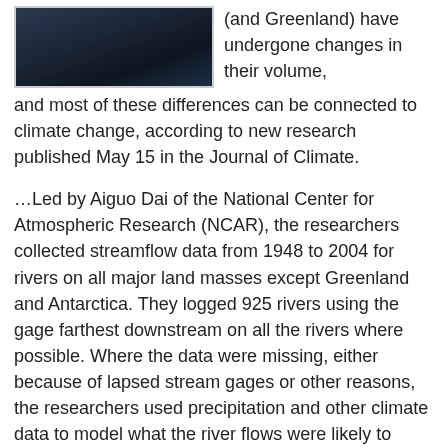[Figure (photo): Dark photograph, likely of a body of water or glacier, shown in the upper left corner of the page.]
(and Greenland) have undergone changes in their volume, and most of these differences can be connected to climate change, according to new research published May 15 in the Journal of Climate.
…Led by Aiguo Dai of the National Center for Atmospheric Research (NCAR), the researchers collected streamflow data from 1948 to 2004 for rivers on all major land masses except Greenland and Antarctica. They logged 925 rivers using the gage farthest downstream on all the rivers where possible. Where the data were missing, either because of lapsed stream gages or other reasons, the researchers used precipitation and other climate data to model what the river flows were likely to have been.
The team determined that in the past half century, freshwater flow dropped 3–14% for some of the major rivers feeding the Pacific and Indian Oceans; however, changing precipitation patterns linked to climate shifts has increased flow for other rivers, such as the Mississippi. (Rainfall over the part of